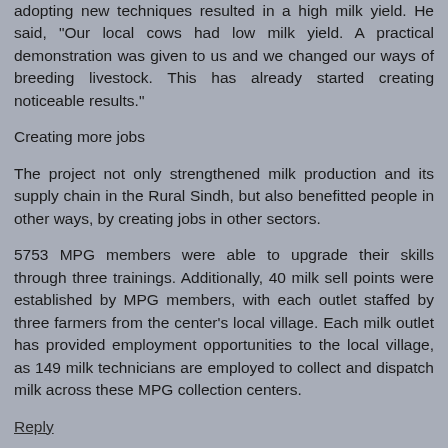adopting new techniques resulted in a high milk yield. He said, "Our local cows had low milk yield. A practical demonstration was given to us and we changed our ways of breeding livestock. This has already started creating noticeable results."
Creating more jobs
The project not only strengthened milk production and its supply chain in the Rural Sindh, but also benefitted people in other ways, by creating jobs in other sectors.
5753 MPG members were able to upgrade their skills through three trainings. Additionally, 40 milk sell points were established by MPG members, with each outlet staffed by three farmers from the center's local village. Each milk outlet has provided employment opportunities to the local village, as 149 milk technicians are employed to collect and dispatch milk across these MPG collection centers.
Reply